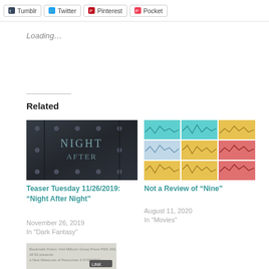[Figure (screenshot): Social sharing buttons row: Tumblr, Twitter, Pinterest, Pocket]
Loading...
Related
[Figure (photo): Dark metal door with text 'Night After' — book cover image for 'Night After Night']
Teaser Tuesday 11/26/2019: “Night After Night”
November 26, 2019
In "Dark Fantasy"
[Figure (illustration): Colorful grid of small line chart panels in cyan, yellow, red/pink hues]
Not a Review of “Nine”
August 11, 2020
In "Movies"
[Figure (screenshot): Partial bottom card image — partially visible thumbnail of another related post]